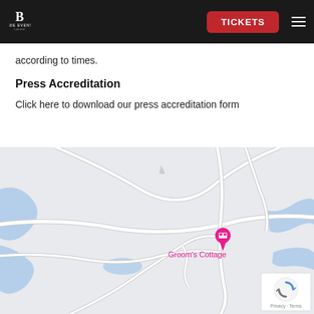BEDE EVENTS Limited | TICKETS
according to times.
Press Accreditation
Click here to download our press accreditation form
[Figure (map): Google Maps showing location of Groom's Cottage with a pink map pin marker. The map shows roads in white/light grey against a light grey background, with blue water features visible. A reCAPTCHA badge is shown in the bottom right corner with Privacy and Terms links.]